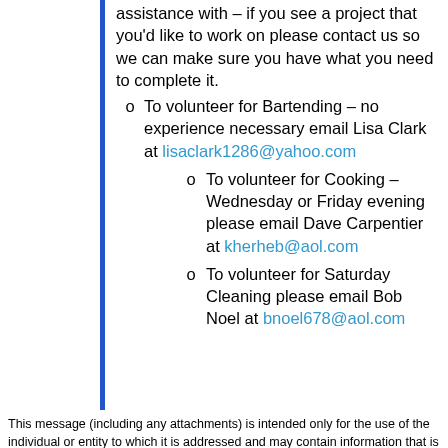assistance with – if you see a project that you'd like to work on please contact us so we can make sure you have what you need to complete it.
To volunteer for Bartending – no experience necessary email Lisa Clark at lisaclark1286@yahoo.com
To volunteer for Cooking – Wednesday or Friday evening please email Dave Carpentier at kherheb@aol.com
To volunteer for Saturday Cleaning please email Bob Noel at bnoel678@aol.com
This message (including any attachments) is intended only for the use of the individual or entity to which it is addressed and may contain information that is non-public